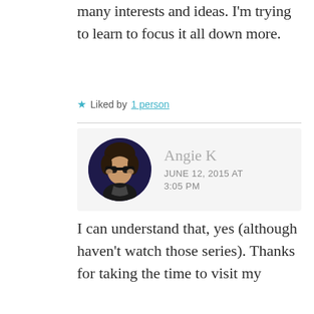many interests and ideas. I'm trying to learn to focus it all down more.
★ Liked by 1 person
[Figure (photo): Circular avatar photo of Angie K, a person wearing sunglasses]
Angie K
JUNE 12, 2015 AT 3:05 PM
I can understand that, yes (although haven't watch those series). Thanks for taking the time to visit my